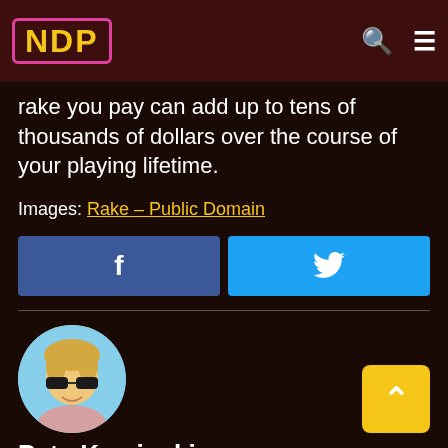NDP
rake you pay can add up to tens of thousands of dollars over the course of your playing lifetime.
Images: Rake – Public Domain
[Figure (infographic): Facebook and Twitter share buttons side by side]
[Figure (photo): Circular profile photo of Pete Kaminski, a young man wearing sunglasses]
Pete Kaminski
Pete Kaminski has been gambling since he can remember and writing about it